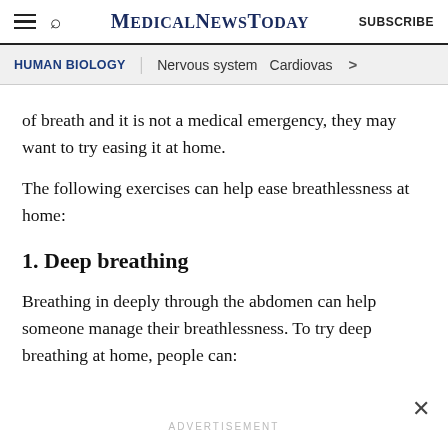MedicalNewsToday  SUBSCRIBE
HUMAN BIOLOGY | Nervous system  Cardiovas >
of breath and it is not a medical emergency, they may want to try easing it at home.
The following exercises can help ease breathlessness at home:
1. Deep breathing
Breathing in deeply through the abdomen can help someone manage their breathlessness. To try deep breathing at home, people can:
ADVERTISEMENT